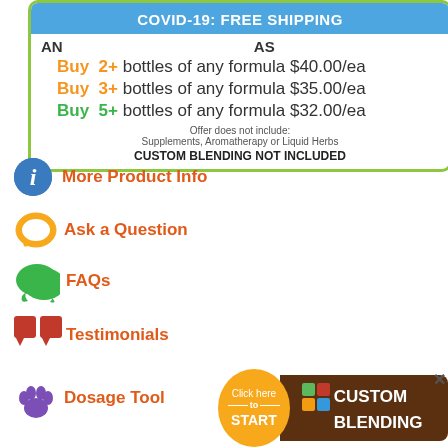[Figure (infographic): Promotional box with COVID-19 free shipping banner and bulk buy pricing: Buy 2+ bottles $40/ea, Buy 3+ bottles $35/ea, Buy 5+ bottles $32/ea. Offer excludes Supplements, Aromatherapy or Liquid Herbs. Custom blending not included.]
More Product Info
Ask a Question
FAQs
Testimonials
Dosage Tool
[Figure (infographic): Click here to START / CUSTOM BLENDING button with orange circle and brown banner with mortar icons]